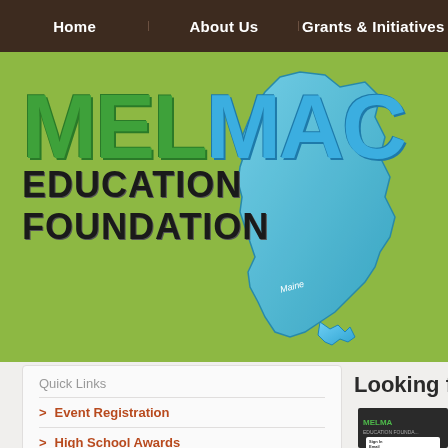Home | About Us | Grants & Initiatives
[Figure (logo): MELMAC Education Foundation logo on green background with Maine state map silhouette in blue]
Quick Links
Event Registration
High School Awards
Looking f...
[Figure (screenshot): MELMAC sign-in panel thumbnail showing Email and Password fields]